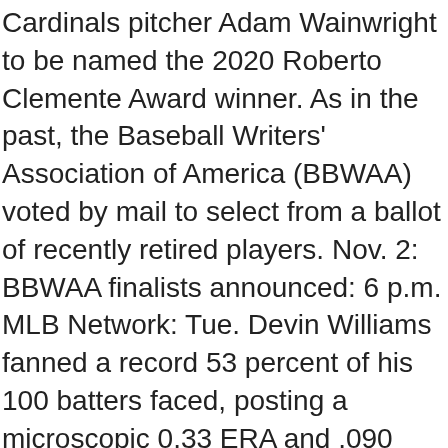Cardinals pitcher Adam Wainwright to be named the 2020 Roberto Clemente Award winner. As in the past, the Baseball Writers' Association of America (BBWAA) voted by mail to select from a ballot of recently retired players. Nov. 2: BBWAA finalists announced: 6 p.m. MLB Network: Tue. Devin Williams fanned a record 53 percent of his 100 batters faced, posting a microscopic 0.33 ERA and .090 BAA in becoming the first reliever to win Rookie of the Year since 2011. Support your favorite #AwardWorthy nominees now! The 2020 MLB season was drastically altered due to the coronavirus pandemic. Jesse Spector. However, the pandemic caused Major League Baseball (MLB) to announce on March 12 that the remainder of spring training was canceled and that the start of the … The season was cut from 162 games to just 60 and no fans were